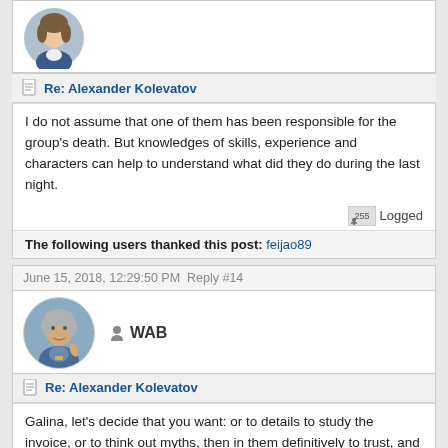[Figure (photo): Circular avatar of a woman with brown hair]
Re: Alexander Kolevatov
I do not assume that one of them has been responsible for the group's death. But knowledges of skills, experience and characters can help to understand what did they do during the last night.
Logged
The following users thanked this post: feijao89
June 15, 2018, 12:29:50 PMReply #14
[Figure (photo): Circular avatar of an older man with grey hair]
WAB
Re: Alexander Kolevatov
Galina, let's decide that you want: or to details to study the invoice, or to think out myths, then in them definitively to trust, and still further to broadcast it to people who in you trust? Especially in the